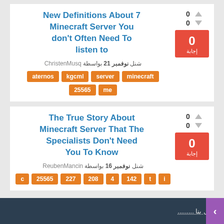New Definitions About 7 Minecraft Server You don't Often Need To listen to
شنل نوفمبر 21 بواسطة ChristenMusq
aternos
kgcml
server
minecraft
25565
me
The True Story About Minecraft Server That The Specialists Don't Need You To Know
شنل نوفمبر 16 بواسطة ReubenMancin
c
25565
227
208
4
142
t
i
اتصل بنا